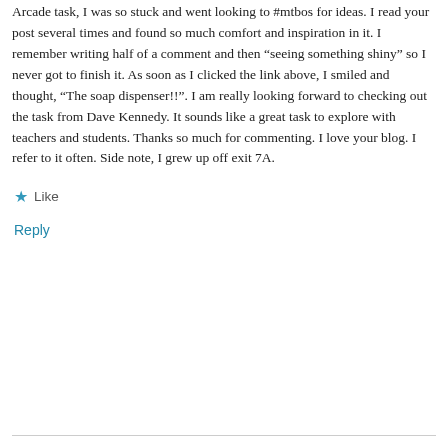Arcade task, I was so stuck and went looking to #mtbos for ideas. I read your post several times and found so much comfort and inspiration in it. I remember writing half of a comment and then “seeing something shiny” so I never got to finish it. As soon as I clicked the link above, I smiled and thought, “The soap dispenser!!”. I am really looking forward to checking out the task from Dave Kennedy. It sounds like a great task to explore with teachers and students. Thanks so much for commenting. I love your blog. I refer to it often. Side note, I grew up off exit 7A.
Like
Reply